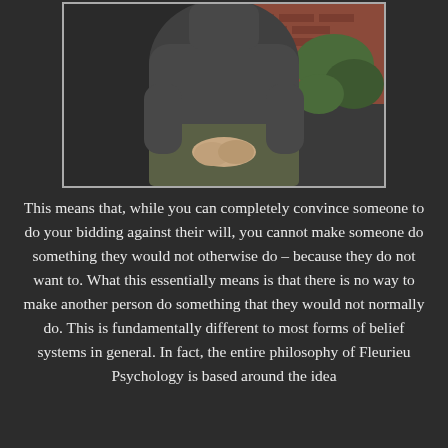[Figure (photo): A person sitting outdoors, viewed from behind/torso level, wearing a dark grey fleece sweater and olive/khaki pants, hands clasped in lap. Background shows brick wall and green foliage.]
This means that, while you can completely convince someone to do your bidding against their will, you cannot make someone do something they would not otherwise do – because they do not want to. What this essentially means is that there is no way to make another person do something that they would not normally do. This is fundamentally different to most forms of belief systems in general. In fact, the entire philosophy of Fleurieu Psychology is based around the idea